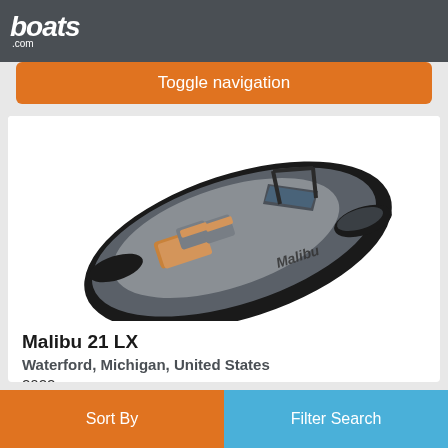boats.com
Toggle navigation
[Figure (photo): Overhead view of a Malibu 21 LX boat in black and gray with orange/tan upholstered seating, photographed from above at an angle showing the interior seating arrangement and hull.]
Malibu 21 LX
Waterford, Michigan, United States
2022
Request Price
Seller Tommy's of Detroit
Sort By  Filter Search